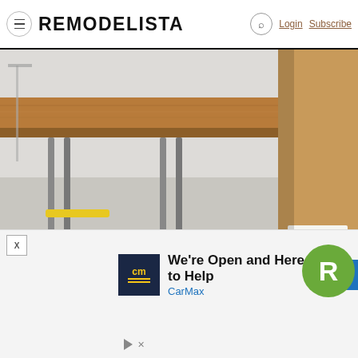REMODELISTA — Login Subscribe
[Figure (photo): A wooden table with yellow metal folding legs on a concrete floor in a light-filled space. Partially visible cardboard tube with 'AST TEA' label on the right edge.]
Desks & Worktables
CHAY Live/Work Table
[Figure (other): Advertisement overlay: CarMax logo with 'We're Open and Here to Help' text, blue arrow icon, and Remodelista green badge with 'R'. Close X button at top left.]